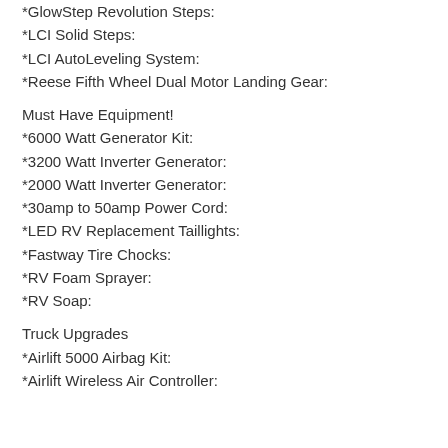*GlowStep Revolution Steps:
*LCI Solid Steps:
*LCI AutoLeveling System:
*Reese Fifth Wheel Dual Motor Landing Gear:
Must Have Equipment!
*6000 Watt Generator Kit:
*3200 Watt Inverter Generator:
*2000 Watt Inverter Generator:
*30amp to 50amp Power Cord:
*LED RV Replacement Taillights:
*Fastway Tire Chocks:
*RV Foam Sprayer:
*RV Soap:
Truck Upgrades
*Airlift 5000 Airbag Kit:
*Airlift Wireless Air Controller: